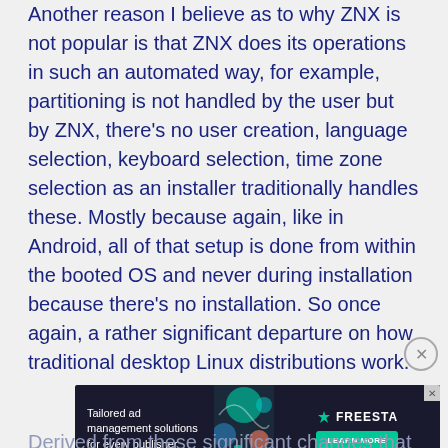Another reason I believe as to why ZNX is not popular is that ZNX does its operations in such an automated way, for example, partitioning is not handled by the user but by ZNX, there's no user creation, language selection, keyboard selection, time zone selection as an installer traditionally handles these. Mostly because again, like in Android, all of that setup is done from within the booted OS and never during installation because there's no installation. So once again, a rather significant departure on how traditional desktop Linux distributions work.
[Figure (screenshot): Advertisement banner for Freesta: 'Tailored ad management solutions for every publisher' with a Learn More button and decorative graphic elements.]
Derived from these significant changes that